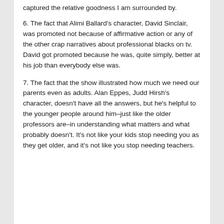captured the relative goodness I am surrounded by.
6. The fact that Alimi Ballard's character, David Sinclair, was promoted not because of affirmative action or any of the other crap narratives about professional blacks on tv. David got promoted because he was, quite simply, better at his job than everybody else was.
7. The fact that the show illustrated how much we need our parents even as adults. Alan Eppes, Judd Hirsh's character, doesn’t have all the answers, but he's helpful to the younger people around him–just like the older professors are–in understanding what matters and what probably doesn’t. It’s not like your kids stop needing you as they get older, and it’s not like you stop needing teachers.